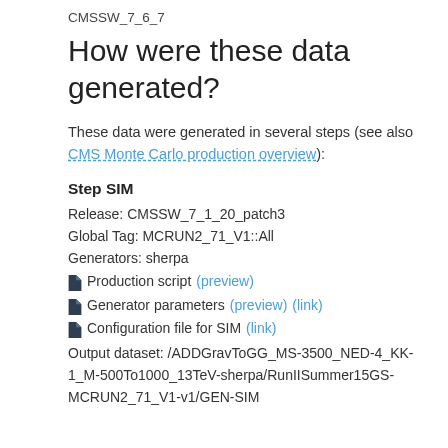CMSSW_7_6_7
How were these data generated?
These data were generated in several steps (see also CMS Monte Carlo production overview):
Step SIM
Release: CMSSW_7_1_20_patch3
Global Tag: MCRUN2_71_V1::All
Generators: sherpa
Production script (preview)
Generator parameters (preview) (link)
Configuration file for SIM (link)
Output dataset: /ADDGravToGG_MS-3500_NED-4_KK-1_M-500To1000_13TeV-sherpa/RunIISummer15GS-MCRUN2_71_V1-v1/GEN-SIM